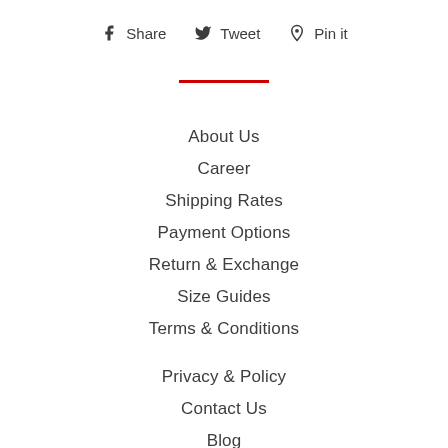f Share   Twitter Tweet   Pinterest Pin it
[Figure (other): Red horizontal divider line]
About Us
Career
Shipping Rates
Payment Options
Return & Exchange
Size Guides
Terms & Conditions
Privacy & Policy
Contact Us
Blog